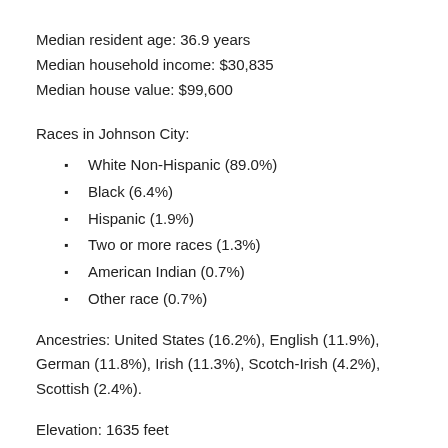Median resident age: 36.9 years
Median household income: $30,835
Median house value: $99,600
Races in Johnson City:
White Non-Hispanic (89.0%)
Black (6.4%)
Hispanic (1.9%)
Two or more races (1.3%)
American Indian (0.7%)
Other race (0.7%)
Ancestries: United States (16.2%), English (11.9%), German (11.8%), Irish (11.3%), Scotch-Irish (4.2%), Scottish (2.4%).
Elevation: 1635 feet
Land area: 39.3 square miles